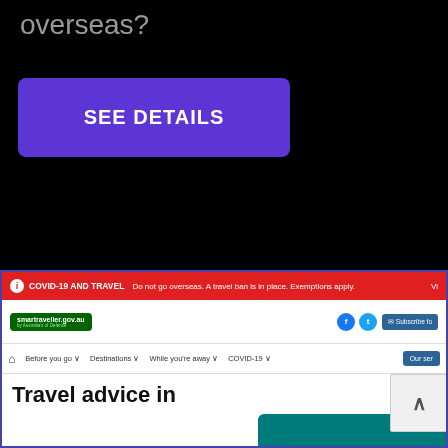overseas?
[Figure (screenshot): Purple button labeled SEE DETAILS]
[Figure (screenshot): Screenshot of smartraveller.gov.au website showing COVID-19 AND TRAVEL banner in red stating 'Do not go overseas. A travel ban is in place. Exemptions apply.', navigation bar with smarttraveller logo, Facebook and Twitter icons, Subscribe button, menu items Before you go, Destinations, While you're away, COVID-19, Our services button, and the beginning of a Travel advice in [the place] page heading with a teal banner element.]